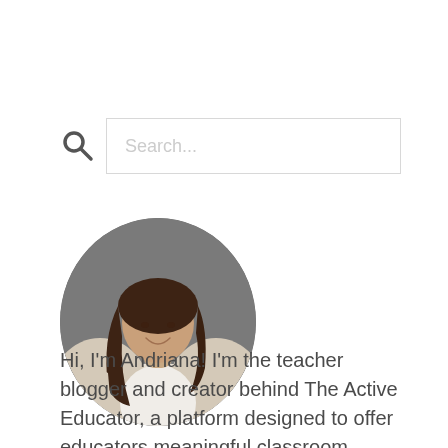[Figure (screenshot): Search bar with magnifying glass icon and placeholder text 'Search...']
[Figure (photo): Circular profile photo of a woman with long dark hair, wearing a beige cardigan and white top, smiling, against a dark gray background.]
Hi, I'm Andriana! I'm the teacher blogger and creator behind The Active Educator, a platform designed to offer educators meaningful classroom management